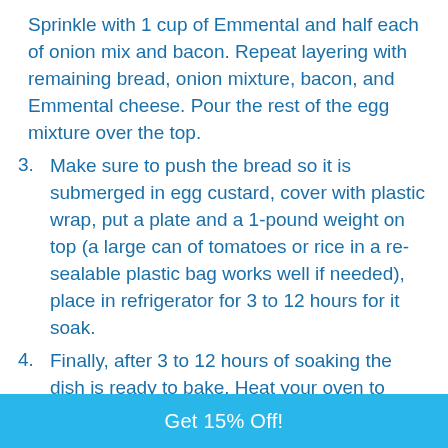Sprinkle with 1 cup of Emmental and half each of onion mix and bacon. Repeat layering with remaining bread, onion mixture, bacon, and Emmental cheese. Pour the rest of the egg mixture over the top.
3. Make sure to push the bread so it is submerged in egg custard, cover with plastic wrap, put a plate and a 1-pound weight on top (a large can of tomatoes or rice in a re-sealable plastic bag works well if needed), place in refrigerator for 3 to 12 hours for it soak.
4. Finally, after 3 to 12 hours of soaking the dish is ready to bake. Heat your oven to
Get 15% Off!